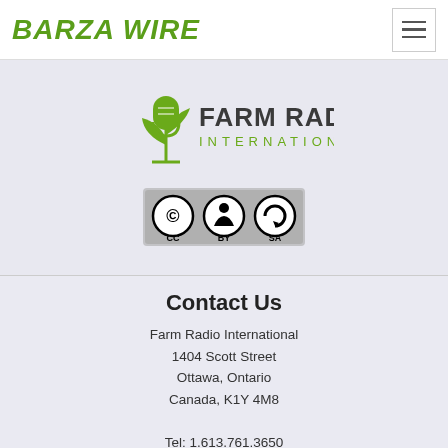BARZA WIRE
[Figure (logo): Farm Radio International logo with microphone and plant icon]
[Figure (logo): Creative Commons BY SA license badge]
Contact Us
Farm Radio International
1404 Scott Street
Ottawa, Ontario
Canada, K1Y 4M8

Tel: 1.613.761.3650
Fax: 1.613.798.0990
Toll-Free: 1.888.773.7717